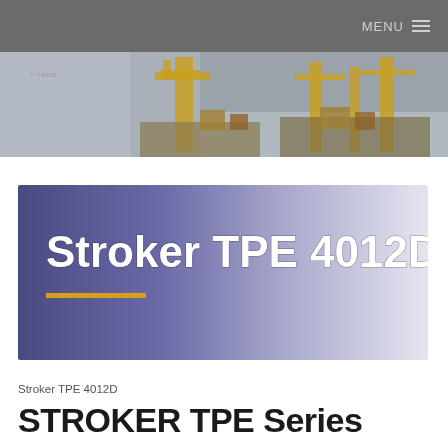MENU ≡
[Figure (photo): Offshore oil platform with yellow cranes and structures against a grey sky]
[Figure (illustration): Purple-to-white gradient banner with bold white text 'Stroker TPE 4012D' and a yellow horizontal rule below]
Stroker TPE 4012D
STROKER TPE Series